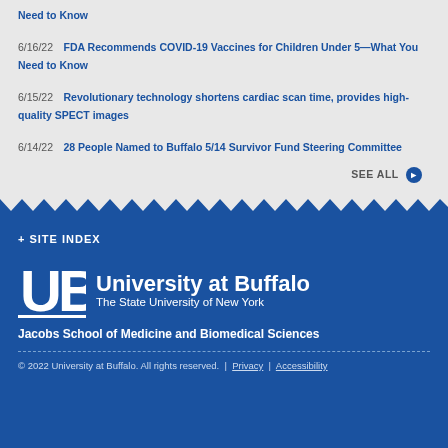Need to Know
6/16/22  FDA Recommends COVID-19 Vaccines for Children Under 5—What You Need to Know
6/15/22  Revolutionary technology shortens cardiac scan time, provides high-quality SPECT images
6/14/22  28 People Named to Buffalo 5/14 Survivor Fund Steering Committee
SEE ALL
+ SITE INDEX
[Figure (logo): University at Buffalo UB logo with text: University at Buffalo The State University of New York]
Jacobs School of Medicine and Biomedical Sciences
© 2022 University at Buffalo. All rights reserved.  |  Privacy  |  Accessibility